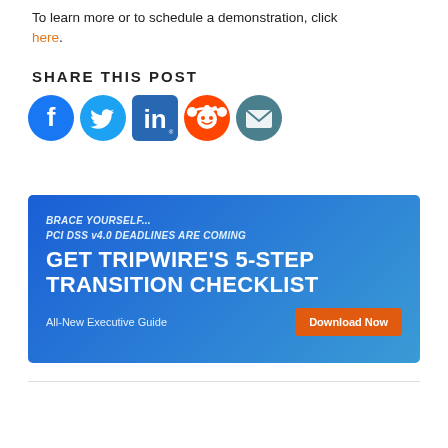To learn more or to schedule a demonstration, click here.
SHARE THIS POST
[Figure (illustration): Social media sharing icons: Facebook, Twitter, LinkedIn, Reddit, Email]
[Figure (infographic): Banner ad: BRACE YOURSELF... PCI DSS v4.0 DEADLINES ARE COMING. GET TRIPWIRE'S 5-STEP TRANSITION CHECKLIST. All-New Executive Guide. Download Now button.]